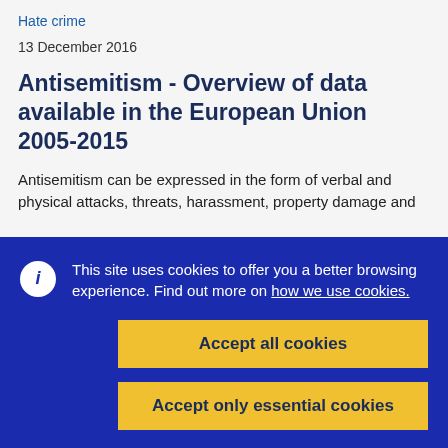Hate crime
13 December 2016
Antisemitism - Overview of data available in the European Union 2005-2015
Antisemitism can be expressed in the form of verbal and physical attacks, threats, harassment, property damage and graffiti or other forms of text, including on the internet. The present report relates to manifestations of
This site uses cookies to offer you a better browsing experience. Find out more on how we use cookies.
Accept all cookies
Accept only essential cookies